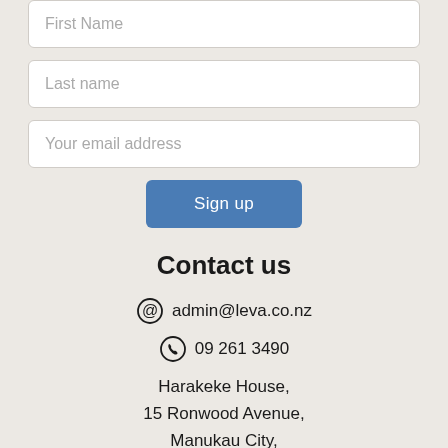First Name
Last name
Your email address
Sign up
Contact us
admin@leva.co.nz
09 261 3490
Harakeke House,
15 Ronwood Avenue,
Manukau City,
Auckland 2104,
New Zealand
For all media enquiries please contact